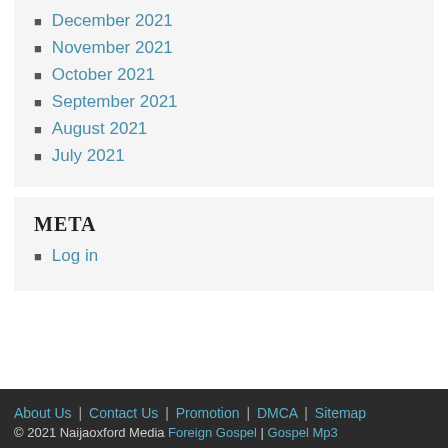December 2021
November 2021
October 2021
September 2021
August 2021
July 2021
META
Log in
About Us | Contact Us | Promotion | DMCA | Sitemap
© 2021 Naijaoxford Media Foreign Gospel | Gospel Mp3